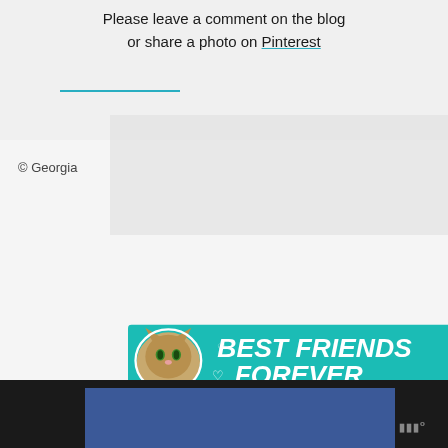Please leave a comment on the blog or share a photo on Pinterest
© Georgia
[Figure (illustration): Advertisement banner with teal background showing a cat and text BEST FRIENDS FOREVER with heart decorations]
[Figure (infographic): Sidebar with like button (heart icon, teal circle), count of 2, and share button]
[Figure (screenshot): Footer bar with dark background, blue rectangle, and small logo text]